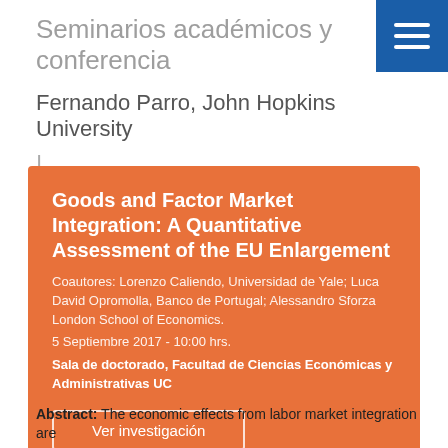Seminarios académicos y conferencias
Fernando Parro, John Hopkins University
|
Goods and Factor Market Integration: A Quantitative Assessment of the EU Enlargement
Coautores: Lorenzo Caliendo, Universidad de Yale; Luca David Opromolla, Banco de Portugal; Alessandro Sforza London School of Economics.
5 Septiembre 2017 - 10:00 hrs.
Sala de doctorado, Facultad de Ciencias Económicas y Administrativas UC
Ver investigación
Abstract: The economic effects from labor market integration are